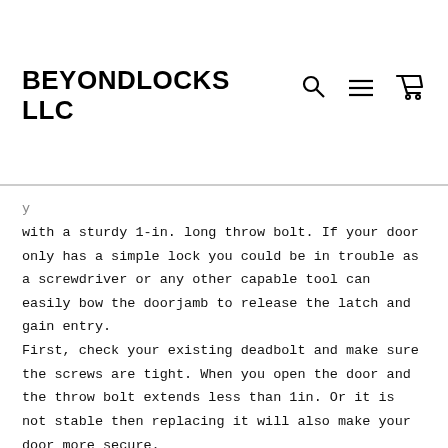BEYONDLOCKS LLC
with a sturdy 1-in. long throw bolt. If your door only has a simple lock you could be in trouble as a screwdriver or any other capable tool can easily bow the doorjamb to release the latch and gain entry.
First, check your existing deadbolt and make sure the screws are tight. When you open the door and the throw bolt extends less than 1in. Or it is not stable then replacing it will also make your door more secure.